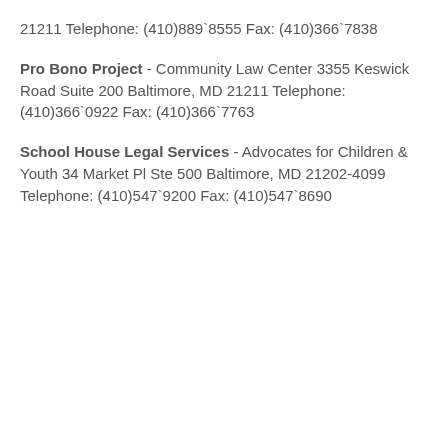21211 Telephone: (410)889`8555 Fax: (410)366`7838
Pro Bono Project - Community Law Center 3355 Keswick Road Suite 200 Baltimore, MD 21211 Telephone: (410)366`0922 Fax: (410)366`7763
School House Legal Services - Advocates for Children & Youth 34 Market Pl Ste 500 Baltimore, MD 21202-4099 Telephone: (410)547`9200 Fax: (410)547`8690